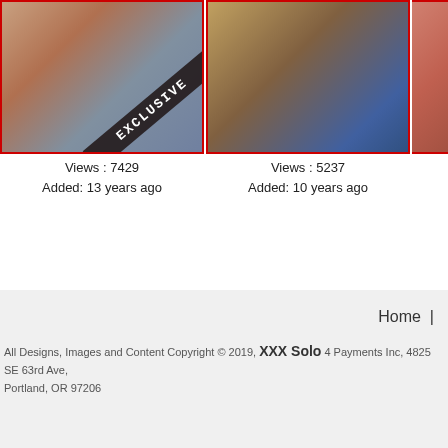[Figure (photo): Thumbnail photo 1 with EXCLUSIVE banner overlay]
Views : 7429
Added: 13 years ago
[Figure (photo): Thumbnail photo 2]
Views : 5237
Added: 10 years ago
[Figure (photo): Partial thumbnail photo 3 (cropped on right edge)]
Home
All Designs, Images and Content Copyright © 2019, XXX Solo 4 Payments Inc, 4825 SE 63rd Ave, Portland, OR 97206